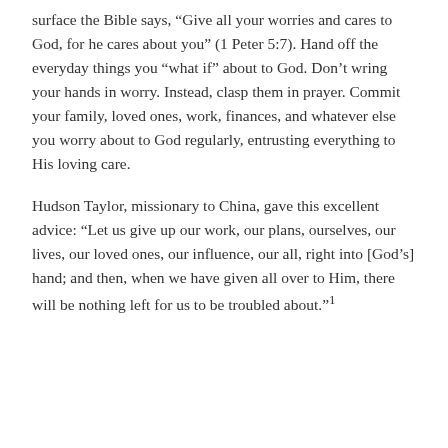surface the Bible says, “Give all your worries and cares to God, for he cares about you” (1 Peter 5:7). Hand off the everyday things you “what if” about to God. Don’t wring your hands in worry. Instead, clasp them in prayer. Commit your family, loved ones, work, finances, and whatever else you worry about to God regularly, entrusting everything to His loving care.
Hudson Taylor, missionary to China, gave this excellent advice: “Let us give up our work, our plans, ourselves, our lives, our loved ones, our influence, our all, right into [God’s] hand; and then, when we have given all over to Him, there will be nothing left for us to be troubled about.”¹